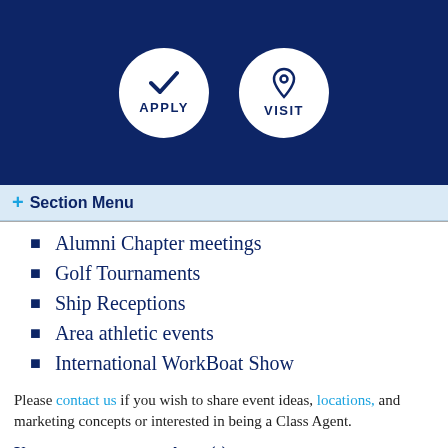[Figure (other): Dark blue navigation header bar with two circular white buttons: APPLY (with checkmark icon) and VISIT (with location pin icon)]
+ Section Menu
Alumni Chapter meetings
Golf Tournaments
Ship Receptions
Area athletic events
International WorkBoat Show
Please contact us if you wish to share event ideas, locations, and marketing concepts or interested in being a Class Agent.
| Year | Agent(s) |
| --- | --- |
| 1943-2 | Agent needed.
Contact us |